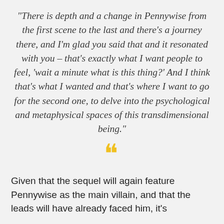“There is depth and a change in Pennywise from the first scene to the last and there’s a journey there, and I’m glad you said that and it resonated with you – that’s exactly what I want people to feel, ‘wait a minute what is this thing?’ And I think that’s what I wanted and that’s where I want to go for the second one, to delve into the psychological and metaphysical spaces of this transdimensional being.”
[Figure (other): Large yellow opening quotation marks decorative element]
Given that the sequel will again feature Pennywise as the main villain, and that the leads will have already faced him, it’s